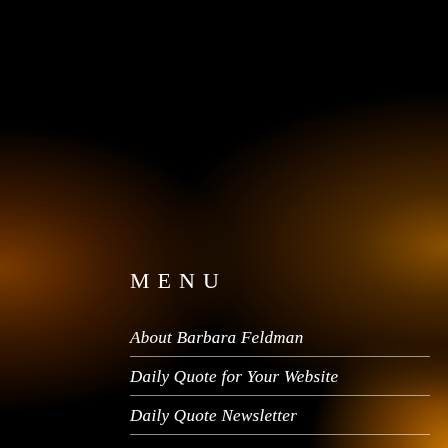MENU
About Barbara Feldman
Daily Quote for Your Website
Daily Quote Newsletter
Email, Twitter and Widgets